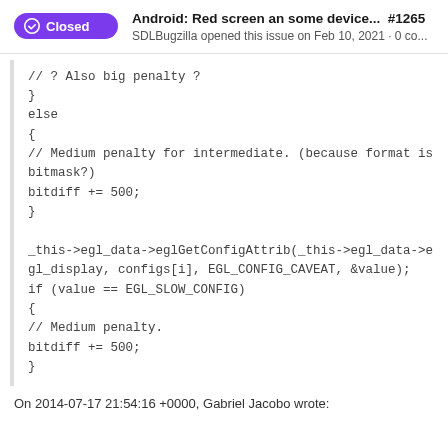Android: Red screen an some device... #1265 SDLBugzilla opened this issue on Feb 10, 2021 · 0 co...
// ? Also big penalty ?
}
else
{
// Medium penalty for intermediate. (because format is bitmask?)
bitdiff += 500;
}

_this->egl_data->eglGetConfigAttrib(_this->egl_data->egl_display, configs[i], EGL_CONFIG_CAVEAT, &value);
if (value == EGL_SLOW_CONFIG)
{
// Medium penalty.
bitdiff += 500;
}
On 2014-07-17 21:54:16 +0000, Gabriel Jacobo wrote: